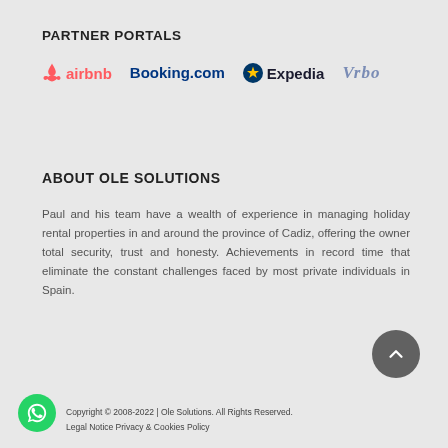PARTNER PORTALS
[Figure (logo): Partner portal logos: Airbnb, Booking.com, Expedia, Vrbo]
ABOUT OLE SOLUTIONS
Paul and his team have a wealth of experience in managing holiday rental properties in and around the province of Cadiz, offering the owner total security, trust and honesty. Achievements in record time that eliminate the constant challenges faced by most private individuals in Spain.
Copyright © 2008-2022 | Ole Solutions. All Rights Reserved.
Legal Notice Privacy & Cookies Policy